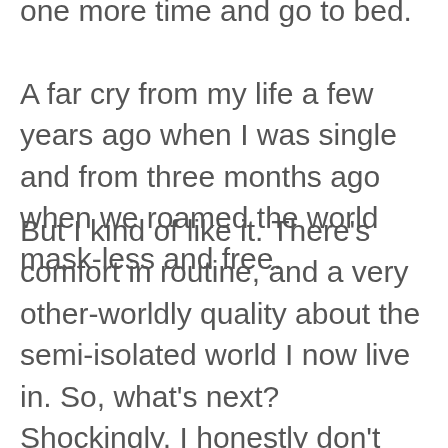one more time and go to bed. A far cry from my life a few years ago when I was single and from three months ago when we roamed the world mask-less and free.
But I kind of like it. There's comfort in routine, and a very other-worldly quality about the semi-isolated world I now live in. So, what's next? Shockingly, I honestly don't miss going out to restaurants that much. Especially when I realize how much it costs each week to eat out. A breakfast or two, three or four lunches, three or four dinners, drinks at coffee shops adds up to